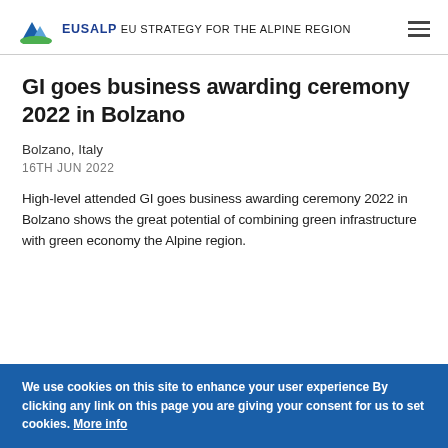EUSALP EU STRATEGY FOR THE ALPINE REGION
GI goes business awarding ceremony 2022 in Bolzano
Bolzano, Italy
16TH JUN 2022
High-level attended GI goes business awarding ceremony 2022 in Bolzano shows the great potential of combining green infrastructure with green economy the Alpine region.
We use cookies on this site to enhance your user experience By clicking any link on this page you are giving your consent for us to set cookies. More info